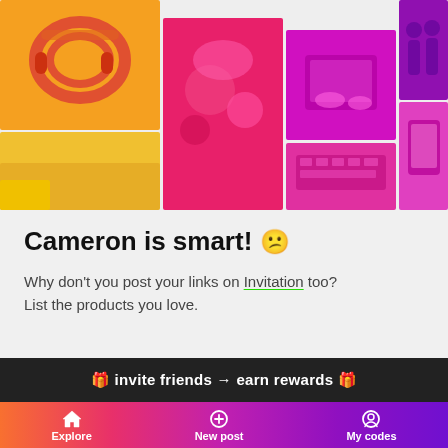[Figure (photo): Colorful photo collage with images tinted in orange-to-pink-to-magenta gradient. Photos include: headphones, food items, hands using tablet, baby/child, silhouettes of people, person using laptop/keyboard, smartphone screen.]
Cameron is smart! 😐
Why don't you post your links on Invitation too?
List the products you love.
🎁 invite friends → earn rewards 🎁
Explore | New post | My codes